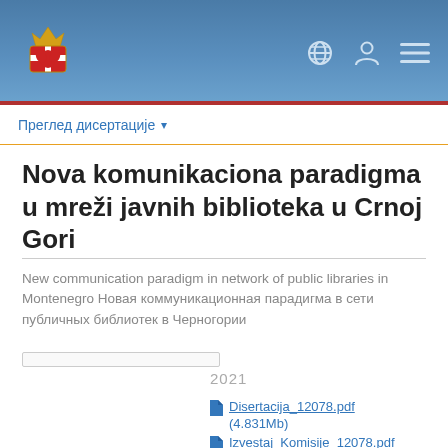Преглед дисертације
Nova komunikaciona paradigma u mreži javnih biblioteka u Crnoj Gori
New communication paradigm in network of public libraries in Montenegro Новая коммуникационная парадигма в сети публичных библиотек в Черногории
2021
Disertacija_12078.pdf (4.831Mb)
Izvestaj_Komisije_12078.pdf (433.0Kb)